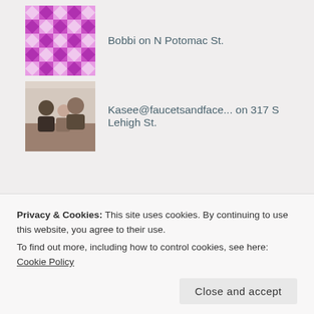Bobbi on N Potomac St.
Kasee@faucetsandface... on 317 S Lehigh St.
ARCHIVES
July 2018
June 2018
Privacy & Cookies: This site uses cookies. By continuing to use this website, you agree to their use.
To find out more, including how to control cookies, see here: Cookie Policy
December 2017